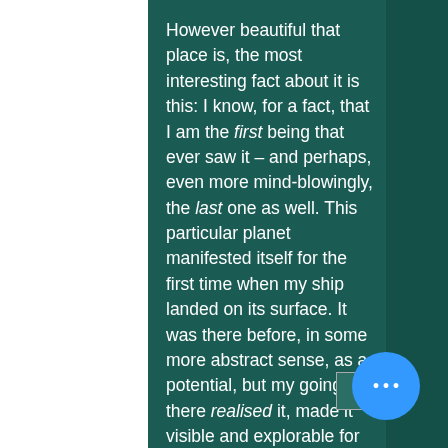However beautiful that place is, the most interesting fact about it is this: I know, for a fact, that I am the first being that ever saw it – and perhaps, even more mind-blowingly, the last one as well. This particular planet manifested itself for the first time when my ship landed on its surface. It was there before, in some more abstract sense, as a potential, but my going there realised it, made it visible and explorable for the first time. There is no designer in a traditional sense that created it for me to see and therefore had prior knowledge of it. And due to the staggering number of stars in the game, it is entirely possible that no one will ever land this planet again.